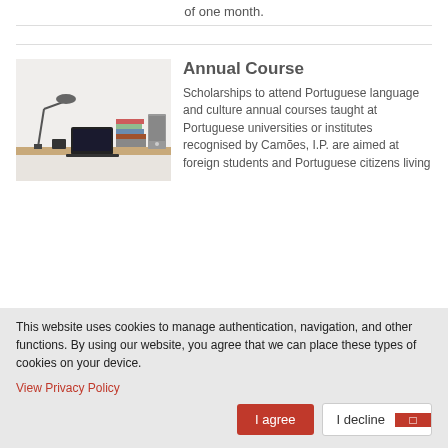of one month.
Annual Course
Scholarships to attend Portuguese language and culture annual courses taught at Portuguese universities or institutes recognised by Camões, I.P. are aimed at foreign students and Portuguese citizens living
[Figure (photo): A desk with a laptop, books, a lamp and office supplies against a white wall]
This website uses cookies to manage authentication, navigation, and other functions. By using our website, you agree that we can place these types of cookies on your device.
View Privacy Policy
I agree
I decline